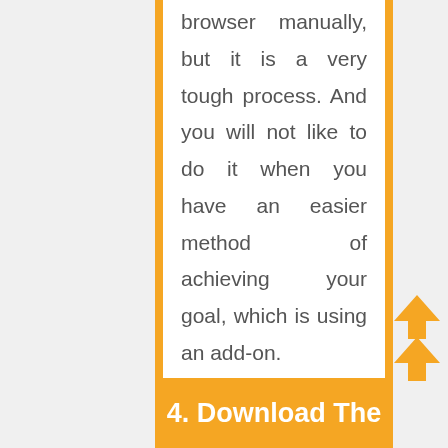browser manually, but it is a very tough process. And you will not like to do it when you have an easier method of achieving your goal, which is using an add-on.

You can use an add-on like ProxyTube, which will make accessing youtube videos a piece of cake. Still, you will be limited in choosing add-ons based on your device and browser.
4. Download The